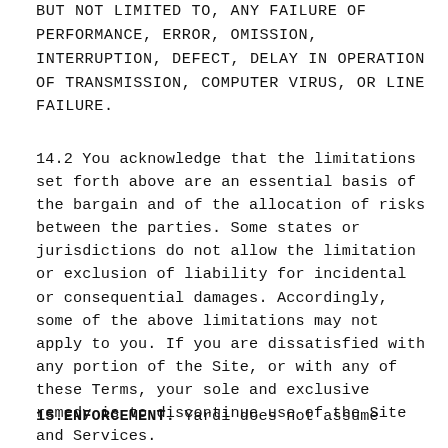BUT NOT LIMITED TO, ANY FAILURE OF PERFORMANCE, ERROR, OMISSION, INTERRUPTION, DEFECT, DELAY IN OPERATION OF TRANSMISSION, COMPUTER VIRUS, OR LINE FAILURE.
14.2 You acknowledge that the limitations set forth above are an essential basis of the bargain and of the allocation of risks between the parties. Some states or jurisdictions do not allow the limitation or exclusion of liability for incidental or consequential damages. Accordingly, some of the above limitations may not apply to you. If you are dissatisfied with any portion of the Site, or with any of these Terms, your sole and exclusive remedy is to discontinue use of the Site and Services.
15.ENFORCEMENT. Yardi does not assume